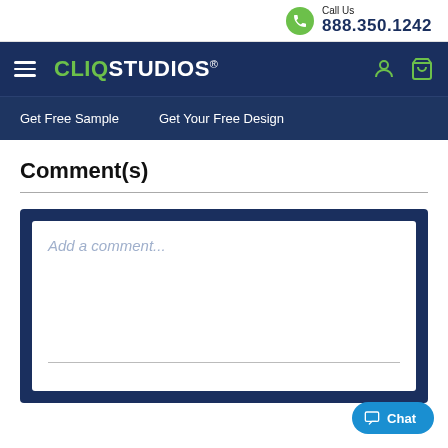Call Us 888.350.1242
[Figure (screenshot): CliqStudios website navigation header with logo, hamburger menu, user icon, and cart icon on dark blue background]
Get Free Sample   Get Your Free Design
Comment(s)
[Figure (screenshot): Comment text input box with placeholder text 'Add a comment...' inside a dark navy blue bordered container]